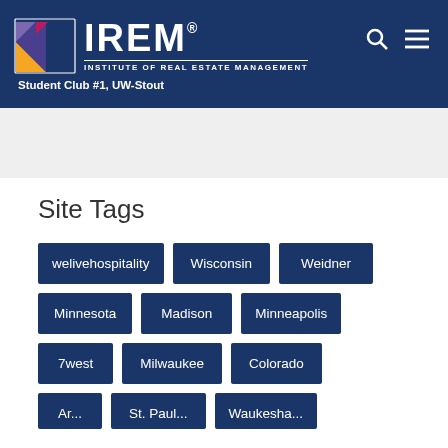IREM — Institute of Real Estate Management, Student Club #1, UW-Stout
Site Tags
welivehospitality
Wisconsin
Weidner
Minnesota
Madison
Minneapolis
7west
Milwaukee
Colorado